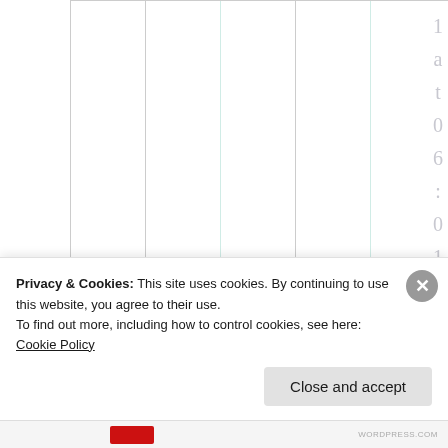[Figure (other): Table or spreadsheet grid area with vertical teal/green divider lines and white background. Right side shows vertically stacked characters '1 a t 0 6 : 0 1' in light gray, and below that large dark letters 'L e t' stacked vertically.]
Privacy & Cookies: This site uses cookies. By continuing to use this website, you agree to their use.
To find out more, including how to control cookies, see here: Cookie Policy
Close and accept